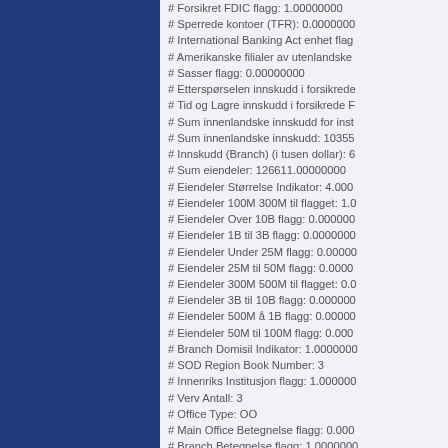# Forsikret FDIC flagg: 1.00000000
# Sperrede kontoer (TFR): 0.00000000
# International Banking Act enhet flagg:
# Amerikanske filialer av utenlandske
# Sasser flagg: 0.00000000
# Etterspørselen innskudd i forsikrede
# Tid og Lagre innskudd i forsikrede F
# Sum innenlandske innskudd for inst
# Sum innenlandske innskudd: 10355
# Innskudd (Branch) (i tusen dollar): 6
# Sum eiendeler: 126611.00000000
# Eiendeler Størrelse Indikator: 4.000
# Eiendeler 100M 300M til flagget: 1.0
# Eiendeler Over 10B flagg: 0.000000
# Eiendeler 1B til 3B flagg: 0.0000000
# Eiendeler Under 25M flagg: 0.00000
# Eiendeler 25M til 50M flagg: 0.0000
# Eiendeler 300M 500M til flagget: 0.0
# Eiendeler 3B til 10B flagg: 0.000000
# Eiendeler 500M å 1B flagg: 0.00000
# Eiendeler 50M til 100M flagg: 0.000
# Branch Domisil Indikator: 1.0000000
# SOD Region Book Number: 3
# Innenriks Institusjon flagg: 1.000000
# Verv Antall: 3
# Office Type: OO
# Main Office Betegnelse flagg: 0.000
# Branch Betegnelse flagg: 1.0000000
# Unikt identifikasjonsnummer (Branc
# Navn (Branch)): Monon Branch
# Staten kode (Branch): IN
# Staten Navn (Branch): Indiana